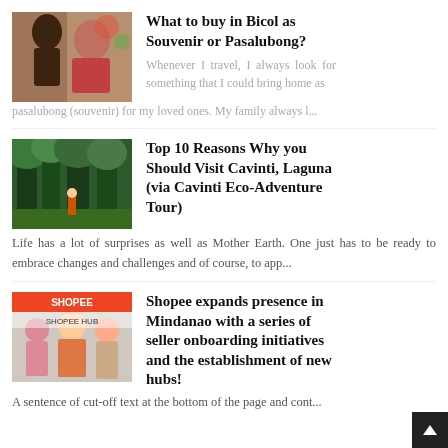[Figure (photo): Two women browsing items at a market stall]
What to buy in Bicol as Souvenir or Pasalubong?
Whenever I travel, I always look for something that I could bring home as pasalubong (souvenir) for my loved ones. My family always l…
[Figure (photo): Lush green forest trees with a person visible below]
Top 10 Reasons Why you Should Visit Cavinti, Laguna (via Cavinti Eco-Adventure Tour)
Life has a lot of surprises as well as Mother Earth. One just has to be ready to embrace changes and challenges and of course, to app…
[Figure (photo): Shopee event photo with banner showing SHOPEE logo and people gathered]
Shopee expands presence in Mindanao with a series of seller onboarding initiatives and the establishment of new hubs!
A sentence of cut-off text at the bottom of the page...